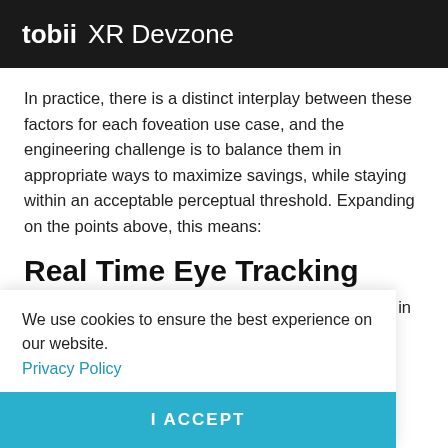tobii XR Devzone
In practice, there is a distinct interplay between these factors for each foveation use case, and the engineering challenge is to balance them in appropriate ways to maximize savings, while staying within an acceptable perceptual threshold. Expanding on the points above, this means:
Real Time Eye Tracking
For foveation to work, the display must be updated in  perception  real-time eye  user's eye
We use cookies to ensure the best experience on our website.
Privacy Policy
I ACCEPT
ated area can be kept small, and optimizations give good yield